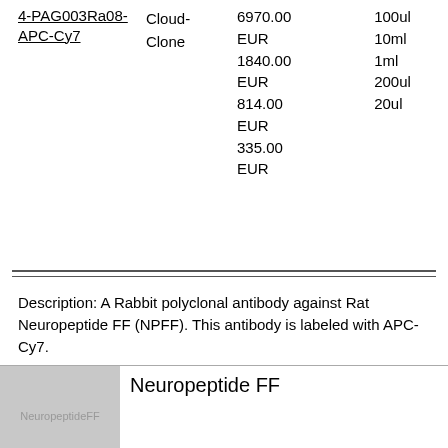| ID | Vendor | Price | Size |
| --- | --- | --- | --- |
| 4-PAG003Ra08-APC-Cy7 | Cloud-Clone | 6970.00 EUR
1840.00 EUR
814.00 EUR
335.00 EUR | 100ul
10ml
1ml
200ul
20ul |
Description: A Rabbit polyclonal antibody against Rat Neuropeptide FF (NPFF). This antibody is labeled with APC-Cy7.
[Figure (photo): Product image placeholder showing 'Neuropeptide FF' label on gray background]
Neuropeptide FF
| ID | Vendor | Size | Price |
| --- | --- | --- | --- |
| B5386-1 | ApexBio | 1 mg | 224 EUR |
[Figure (photo): Next product image bar showing Neuropeptide FF]